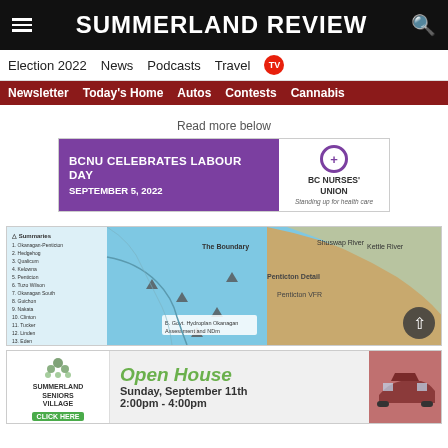SUMMERLAND REVIEW
Election 2022  News  Podcasts  Travel  TV
Newsletter  Today's Home  Autos  Contests  Cannabis
Read more below
[Figure (infographic): BCNU advertisement: 'BCNU CELEBRATES LABOUR DAY SEPTEMBER 5, 2022' with BC Nurses Union logo]
[Figure (map): Coastal map with landmark icons and legend listing locations]
[Figure (infographic): Summerland Seniors Village Open House ad: Sunday, September 11th 2:00pm - 4:00pm, Click Here]